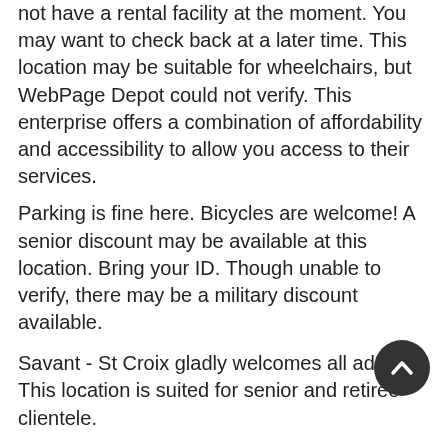not have a rental facility at the moment. You may want to check back at a later time. This location may be suitable for wheelchairs, but WebPage Depot could not verify. This enterprise offers a combination of affordability and accessibility to allow you access to their services.
Parking is fine here. Bicycles are welcome! A senior discount may be available at this location. Bring your ID. Though unable to verify, there may be a military discount available.
Savant - St Croix gladly welcomes all adults. This location is suited for senior and retiree clientele.
The Health Inspection passed at this location.
Come on by or give us a call during business hours if you have questions (340) 713-8666.
The staff at WebPage Depot hopes you find the information here fun and informative. Please note